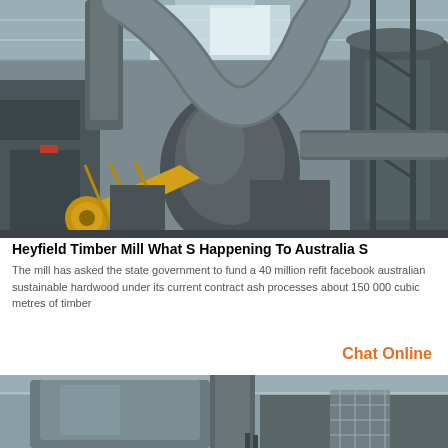[Figure (photo): Industrial timber mill interior showing large metal ductwork, pipes, conveyor belts, and processing machinery under a corrugated metal roof]
Heyfield Timber Mill What S Happening To Australia S
The mill has asked the state government to fund a 40 million refit facebook australian sustainable hardwood under its current contract ash processes about 150 000 cubic metres of timber
Chat Online
[Figure (photo): Industrial facility interior showing large cylindrical metal tank or silo with pipes and equipment]